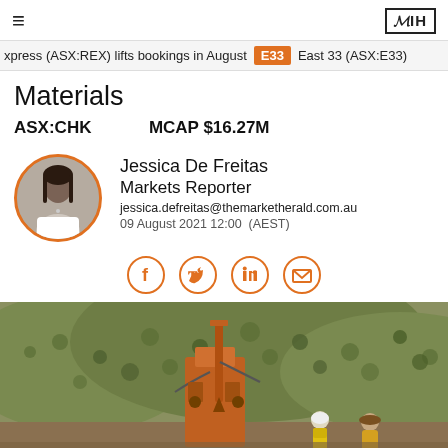≡  ЗIH
xpress (ASX:REX) lifts bookings in August  E33  East 33 (ASX:E33)
Materials
ASX:CHK    MCAP $16.27M
Jessica De Freitas
Markets Reporter
jessica.defreitas@themarketherald.com.au
09 August 2021 12:00  (AEST)
[Figure (infographic): Social share icons: Facebook, Twitter, LinkedIn, Email — orange outlined circles]
[Figure (photo): Outdoor mining/drilling scene with orange drill rig on hillside covered in scrub vegetation, two workers in high-vis gear visible in foreground]